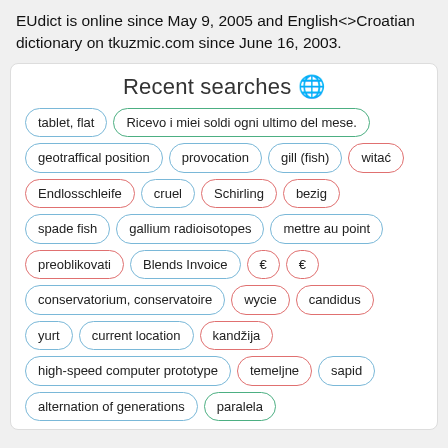EUdict is online since May 9, 2005 and English<>Croatian dictionary on tkuzmic.com since June 16, 2003.
Recent searches 🌐
tablet, flat
Ricevo i miei soldi ogni ultimo del mese.
geotraffical position
provocation
gill (fish)
witać
Endlosschleife
cruel
Schirling
bezig
spade fish
gallium radioisotopes
mettre au point
preoblikovati
Blends Invoice
🔔
🔔
conservatorium, conservatoire
wycie
candidus
yurt
current location
kandžija
high-speed computer prototype
temeljne
sapid
alternation of generations
paralela